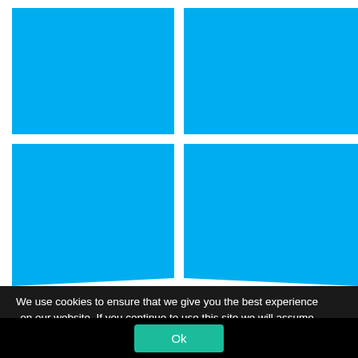[Figure (logo): Windows logo — four blue rectangles arranged in a 2x2 grid with white gaps, viewed in slight perspective, on a white background. The logo fills most of the upper portion of the page.]
We use cookies to ensure that we give you the best experience on our website. If you continue to use this site we will assume that you are happy with it.
[Figure (other): Close (X) button in the bottom-right corner of the cookie notice bar]